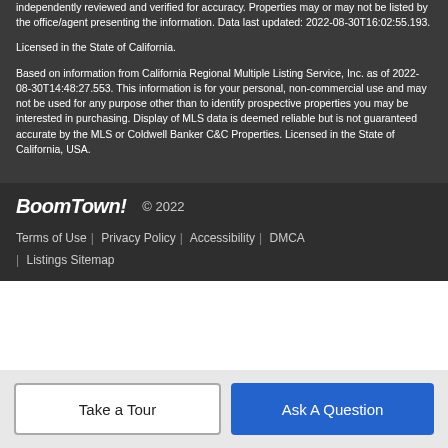independently reviewed and verified for accuracy. Properties may or may not be listed by the office/agent presenting the information. Data last updated: 2022-08-30T16:02:55.193.
Licensed in the State of California.
Based on information from California Regional Multiple Listing Service, Inc. as of 2022-08-30T14:48:27.553. This information is for your personal, non-commercial use and may not be used for any purpose other than to identify prospective properties you may be interested in purchasing. Display of MLS data is deemed reliable but is not guaranteed accurate by the MLS or Coldwell Banker C&C Properties. Licensed in the State of California, USA.
BoomTown! © 2022  Terms of Use | Privacy Policy | Accessibility | DMCA | Listings Sitemap